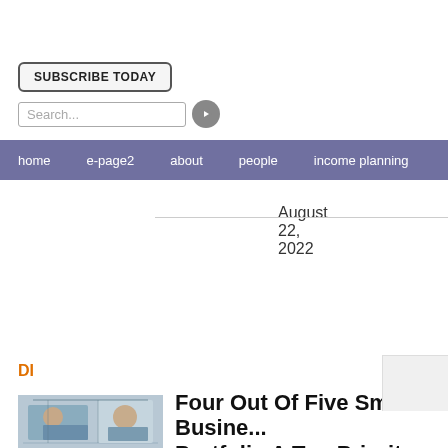SUBSCRIBE TODAY
Search...   August 22, 2022
home   e-page2   about   people   income planning
DI
Four Out Of Five Small Busine... Portfolio A Top Priority